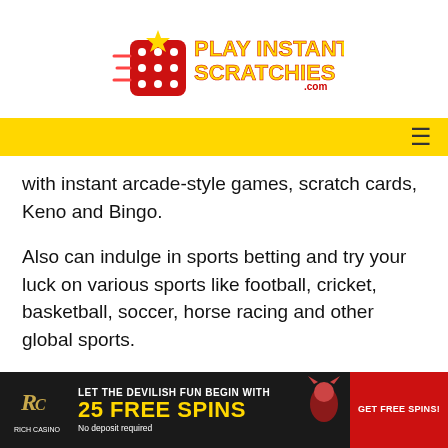[Figure (logo): PlayInstantScratchies.com logo with red dice and yellow/red text]
Navigation bar with hamburger menu
with instant arcade-style games, scratch cards, Keno and Bingo.
Also can indulge in sports betting and try your luck on various sports like football, cricket, basketball, soccer, horse racing and other global sports.
Bonuses and Promotions
As a new Rich Casino player, you get the casino's standard New Player Welcome Bonus of 750% Bonus plus 110 cash
[Figure (infographic): Rich Casino ad banner: LET THE DEVILISH FUN BEGIN WITH 25 FREE SPINS - No deposit required - GET FREE SPINS!]